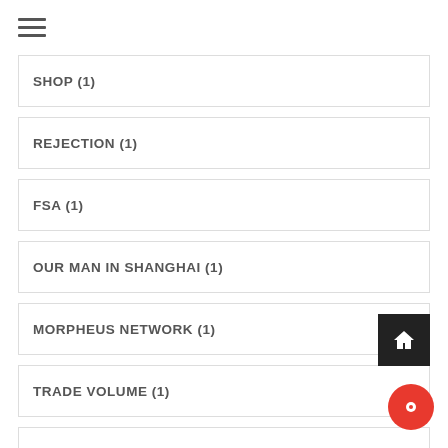SHOP (1)
REJECTION (1)
FSA (1)
OUR MAN IN SHANGHAI (1)
MORPHEUS NETWORK (1)
TRADE VOLUME (1)
BITCOIN CORE DEVELOPER (1)
WONDER WOMAN (1)